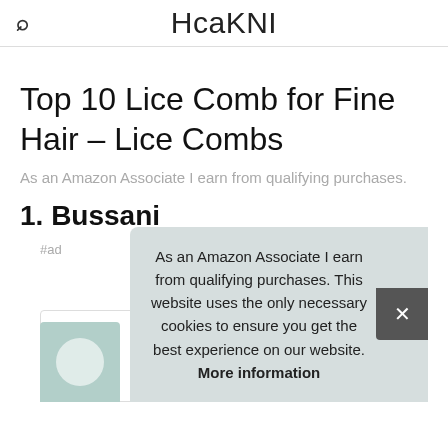HcaKNI
Top 10 Lice Comb for Fine Hair – Lice Combs
As an Amazon Associate I earn from qualifying purchases.
1. Bussani
As an Amazon Associate I earn from qualifying purchases. This website uses the only necessary cookies to ensure you get the best experience on our website. More information